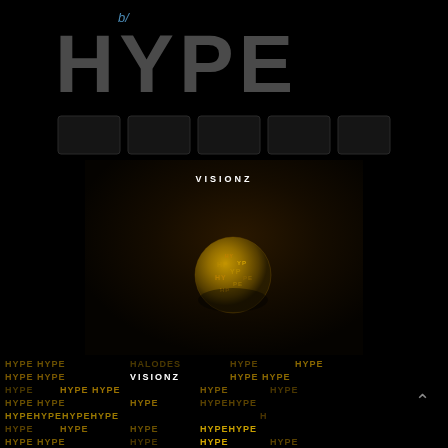[Figure (logo): HYPE logo in large grey uppercase letters on black background with 'b/' prefix in blue italic]
[Figure (screenshot): Dark album cover / app interface showing 'VISIONZ' title in white and a golden sphere made of letters in the center on dark brown-black background]
[Figure (illustration): Repeating pattern of golden 'HYPE' text tiles on black background at the bottom, with 'VISIONZ' text overlay in white]